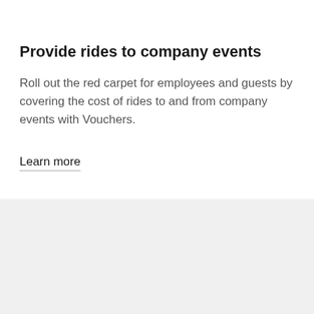Provide rides to company events
Roll out the red carpet for employees and guests by covering the cost of rides to and from company events with Vouchers.
Learn more